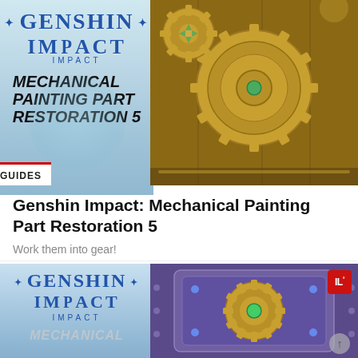[Figure (screenshot): Genshin Impact: Mechanical Painting Part Restoration 5 article thumbnail showing Genshin Impact logo on decorative background on the left and golden gears on a wooden surface on the right]
GUIDES
Genshin Impact: Mechanical Painting Part Restoration 5
Work them into gear!
[Figure (screenshot): Second thumbnail showing Genshin Impact logo on blue background on the left and a mechanical/gear decorated card on purple-violet background on the right, with an IL badge in the top right corner]